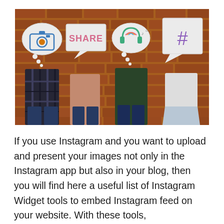[Figure (photo): Four people standing against a brick wall, each holding up a speech bubble or thought bubble sign covering their faces. Signs show: a camera illustration (thought bubble), 'SHARE' text (speech bubble), headphones with music notes (thought bubble), and a hashtag '#' symbol (speech bubble). People are wearing casual clothes in plaid, pink, dark green, and white/light outfits.]
If you use Instagram and you want to upload and present your images not only in the Instagram app but also in your blog, then you will find here a useful list of Instagram Widget tools to embed Instagram feed on your website. With these tools,